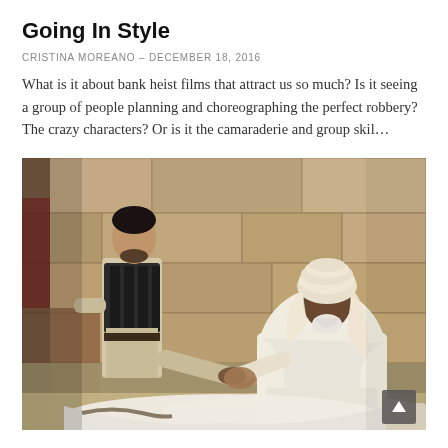Going In Style
CRISTINA MOREANO – DECEMBER 18, 2016
What is it about bank heist films that attract us so much? Is it seeing a group of people planning and choreographing the perfect robbery? The crazy characters? Or is it the camaraderie and group skil…
[Figure (photo): A movie still showing a young man in ancient warrior garb shaking hands with an elderly man wearing white robes and a turban, set against a stone wall background.]